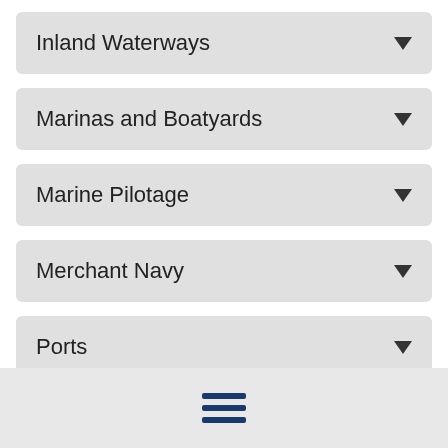Inland Waterways
Marinas and Boatyards
Marine Pilotage
Merchant Navy
Ports
Royal Navy
Sea Fishing
[Figure (other): Hamburger menu icon with three horizontal navy blue bars]